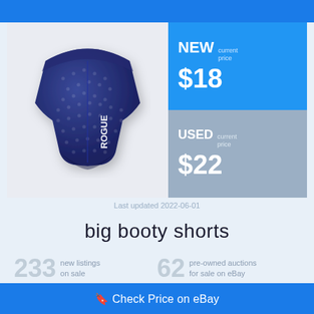[Figure (photo): Dark navy blue athletic shorts with 'ROGUE' text on the side, shown from a front-angle view against a light grey background]
NEW current price $18
USED current price $22
Last updated 2022-06-01
big booty shorts
233 new listings on sale
62 pre-owned auctions for sale on eBay
🔖 Check Price on eBay